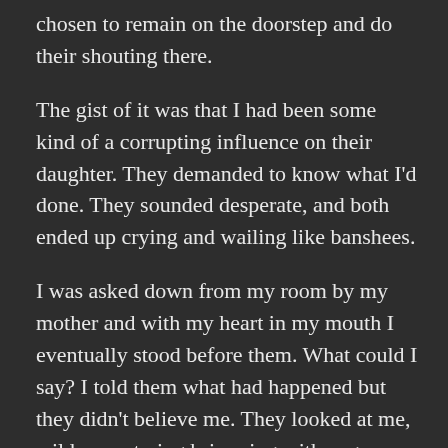chosen to remain on the doorstep and do their shouting there.
The gist of it was that I had been some kind of a corrupting influence on their daughter. They demanded to know what I'd done. They sounded desperate, and both ended up crying and wailing like banshees.
I was asked down from my room by my mother and with my heart in my mouth I eventually stood before them. What could I say? I told them what had happened but they didn't believe me. They looked at me, wild eyes staring brimming with angry tears. They couldn't believe what they were hearing. It ended with